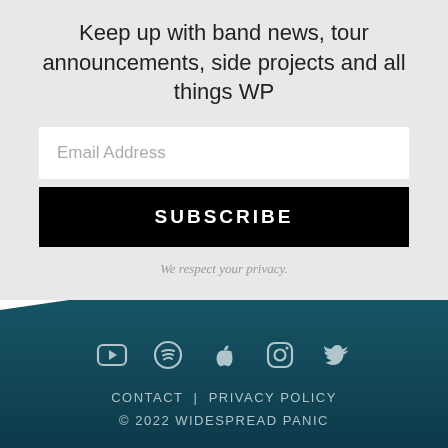Keep up with band news, tour announcements, side projects and all things WP
Email Address
SUBSCRIBE
We respect your privacy.
[Figure (illustration): Social media icons: YouTube, Spotify, Apple Music, Instagram, Twitter — white on teal background]
CONTACT | PRIVACY POLICY
© 2022 WIDESPREAD PANIC